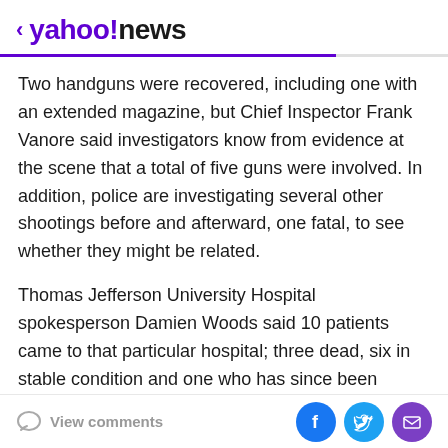< yahoo!news
Two handguns were recovered, including one with an extended magazine, but Chief Inspector Frank Vanore said investigators know from evidence at the scene that a total of five guns were involved. In addition, police are investigating several other shootings before and afterward, one fatal, to see whether they might be related.
Thomas Jefferson University Hospital spokesperson Damien Woods said 10 patients came to that particular hospital; three dead, six in stable condition and one who has since been discharged.
View comments